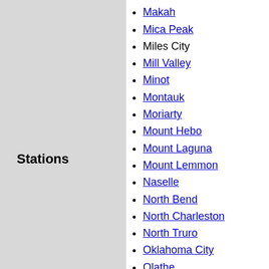Stations
Madera
Makah
Mica Peak
Miles City
Mill Valley
Minot
Montauk
Moriarty
Mount Hebo
Mount Laguna
Mount Lemmon
Naselle
North Bend
North Charleston
North Truro
Oklahoma City
Olathe
Omaha
Opheim
Osceola
Othello
Quinsville